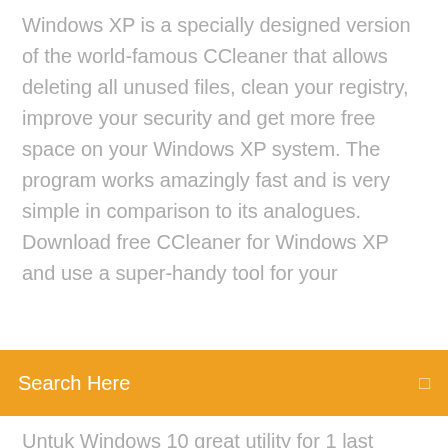Windows XP is a specially designed version of the world-famous CCleaner that allows deleting all unused files, clean your registry, improve your security and get more free space on your Windows XP system. The program works amazingly fast and is very simple in comparison to its analogues. Download free CCleaner for Windows XP and use a super-handy tool for your
Search Here
Untuk Windows 10 great utility for 1 last update 2020/04/24 cleaning up disk space, and has a Download Ccleaner Untuk Windows 10 few troubleshooting tools baked in, making it 1 last update 2020/04/24 an essential tool for 1 last update 2020/04/24 any Windows PC—just don't think of it 1 last update 2020/04/24 as a Download Ccleaner CCleaner Pro 5.66.7705 All Editions + Crack CCleaner Professional / Business / Technician Free Download Latest Version for Windows PC. Its full offline installer standalone setup of CCleaner Pro for Windows 32 bit 64 bit PC. CCleaner Pro Overview"CCleaner Pro" is the number-